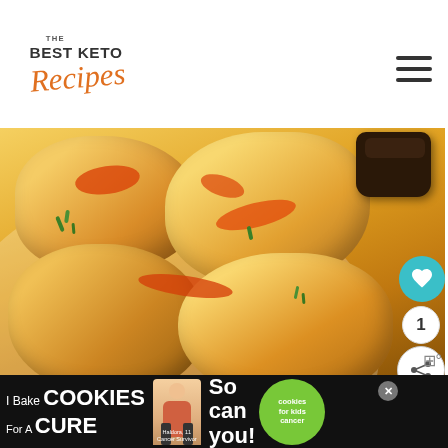The Best Keto Recipes
[Figure (photo): Close-up photo of golden baked keto biscuits drizzled with orange sauce and chopped green onions on a white plate with a dark dipping sauce bowl]
1
WHAT'S NEXT → Easy Keto
I Bake COOKIES For A CURE - Haldora, 11 Cancer Survivor - So can you! cookies for kids cancer